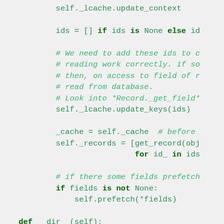Code snippet showing Python methods including _lcache.update_context, ids assignment, _lcache.update_keys, _records assignment, prefetch call, and __dir__ method definition.